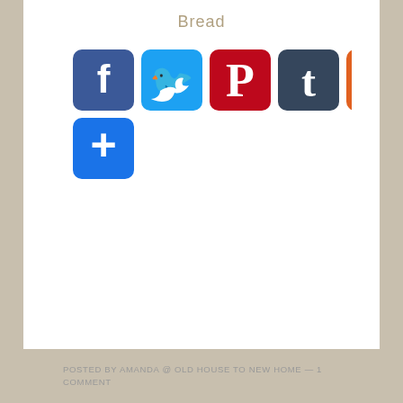Bread
[Figure (infographic): Social media sharing buttons: Facebook (blue), Twitter (light blue), Pinterest (red), Tumblr (dark blue-grey), Yummly (orange), and a More/Add (+) button (blue)]
POSTED BY AMANDA @ OLD HOUSE TO NEW HOME — 1 COMMENT